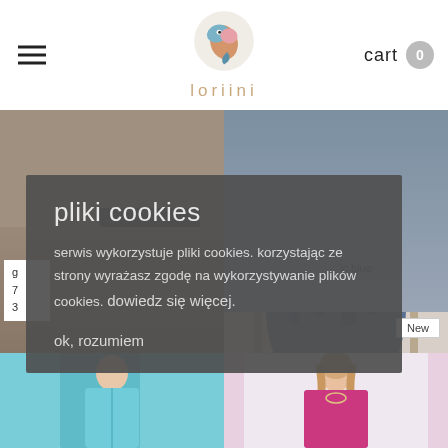loriini — navigation header with hamburger menu, logo, and cart (0)
[Figure (screenshot): Two product photos side by side: left shows a wicker bag and leather jacket, right shows a blue floral skirt]
g… ic blue
7…
3…
[Figure (screenshot): New badge and two bottom product thumbnail photos: cyan dress on left, pink/magenta dress on right]
New
pliki cookies

serwis wykorzystuje pliki cookies. korzystając ze strony wyrażasz zgodę na wykorzystywanie plików cookies. dowiedz się więcej.

ok, rozumiem